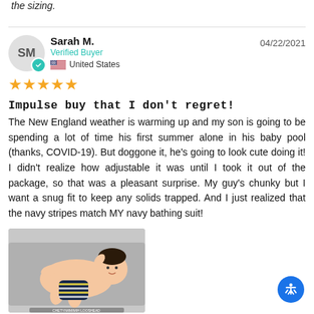the sizing.
Sarah M.
Verified Buyer
United States
04/22/2021
★★★★★
Impulse buy that I don't regret!
The New England weather is warming up and my son is going to be spending a lot of time his first summer alone in his baby pool (thanks, COVID-19). But doggone it, he's going to look cute doing it! I didn't realize how adjustable it was until I took it out of the package, so that was a pleasant surprise. My guy's chunky but I want a snug fit to keep any solids trapped. And I just realized that the navy stripes match MY navy bathing suit!
[Figure (photo): Photo of a baby lying on its back wearing a navy striped swim diaper]